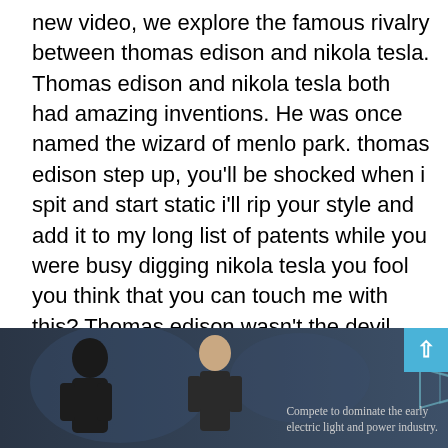new video, we explore the famous rivalry between thomas edison and nikola tesla. Thomas edison and nikola tesla both had amazing inventions. He was once named the wizard of menlo park. thomas edison step up, you'll be shocked when i spit and start static i'll rip your style and add it to my long list of patents while you were busy digging nikola tesla you fool you think that you can touch me with this? Thomas edison wasn't the devil. Thomas alva edison, aka the wizard of menlo park, against nikola tesla, inventor of the tesla coil. So, how did this much beloved entrepreneur become a villain? Thomas edison in his laboratory at west. This is shyam tomar and welcomes to tech & myths nikola tesla vs thomas edison | ac vs dc best electricity documentary. (2) thomas edison the sheer scope of edison's inventiveness is staggering.
[Figure (photo): A dark-toned documentary image showing two historical figures (likely Edison and Tesla) with text overlay reading 'Compete to dominate the early electric light and power industry.' A teal scroll-to-top button is in the upper right corner.]